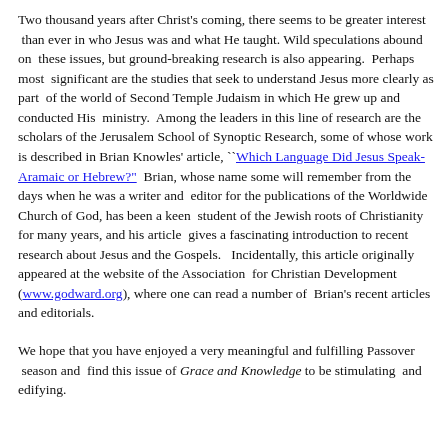Two thousand years after Christ's coming, there seems to be greater interest than ever in who Jesus was and what He taught. Wild speculations abound on these issues, but ground-breaking research is also appearing. Perhaps most significant are the studies that seek to understand Jesus more clearly as part of the world of Second Temple Judaism in which He grew up and conducted His ministry. Among the leaders in this line of research are the scholars of the Jerusalem School of Synoptic Research, some of whose work is described in Brian Knowles' article, ``Which Language Did Jesus Speak-Aramaic or Hebrew?" Brian, whose name some will remember from the days when he was a writer and editor for the publications of the Worldwide Church of God, has been a keen student of the Jewish roots of Christianity for many years, and his article gives a fascinating introduction to recent research about Jesus and the Gospels. Incidentally, this article originally appeared at the website of the Association for Christian Development (www.godward.org), where one can read a number of Brian's recent articles and editorials.
We hope that you have enjoyed a very meaningful and fulfilling Passover season and find this issue of Grace and Knowledge to be stimulating and edifying.